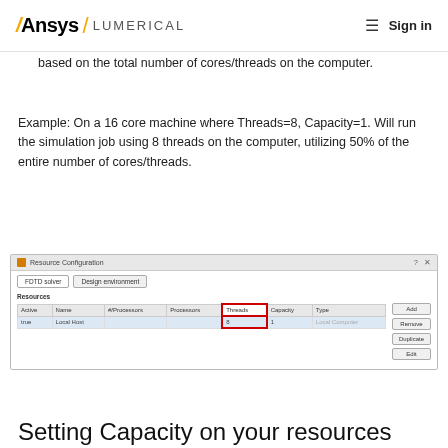Ansys / LUMERICAL  ≡ Sign in
based on the total number of cores/threads on the computer.
Example: On a 16 core machine where Threads=8, Capacity=1. Will run the simulation job using 8 threads on the computer, utilizing 50% of the entire number of cores/threads.
[Figure (screenshot): Resource Configuration dialog showing a table with columns Active, Name, #/Processors, Processors, Threads (highlighted with red border showing value 8), Capacity, Type. Row shows: true, Local Host, [blank], 8, 1, Local Computer. Buttons on right: Add, Remove, Duplicate, Edit.]
Setting Capacity on your resources